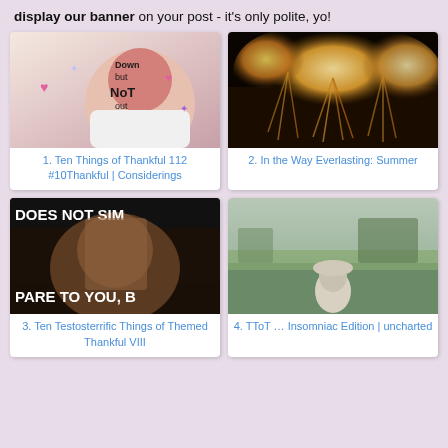display our banner on your post - it's only polite, yo!
[Figure (photo): Card 1: selfie of woman with red hair and glasses, decorative hearts and doodles overlay, text 'Down but NoT out']
1. Ten Things of Thankful 112 #10Thankful | Considerings
[Figure (photo): Card 2: fireworks photo with golden bursts against dark sky]
2. In the Way Everlasting: Summer
[Figure (photo): Card 3: internet meme image of man with text 'DOES NOT SIM' and 'PARE TO YOU, B']
3. Ten Testosterrific Things of Themed Thankful VIII
[Figure (photo): Card 4: dog sitting in green field viewed from behind]
4. TToT … Insomniac Edition | uncharted